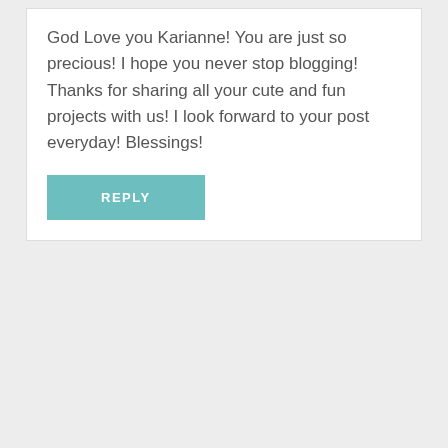God Love you Karianne! You are just so precious! I hope you never stop blogging! Thanks for sharing all your cute and fun projects with us! I look forward to your post everyday! Blessings!
REPLY
PATRICIA
Oct 12, 2017 at 12:44 pm
Could you please have a contest and raffle off your sister, or your brother or YOU!!